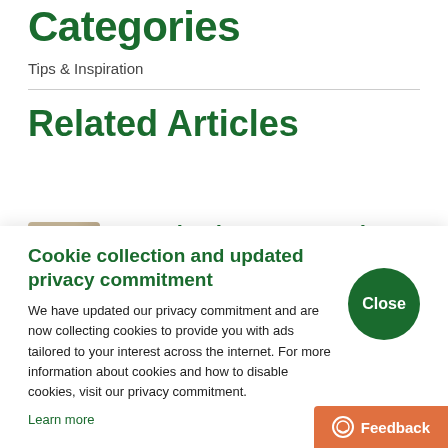Categories
Tips & Inspiration
Related Articles
[Figure (photo): Thumbnail image for article, partially visible]
One Blender, 10 Tasty Idea… (partial, truncated)
Cookie collection and updated privacy commitment
We have updated our privacy commitment and are now collecting cookies to provide you with ads tailored to your interest across the internet. For more information about cookies and how to disable cookies, visit our privacy commitment.
Learn more
Close
Feedback